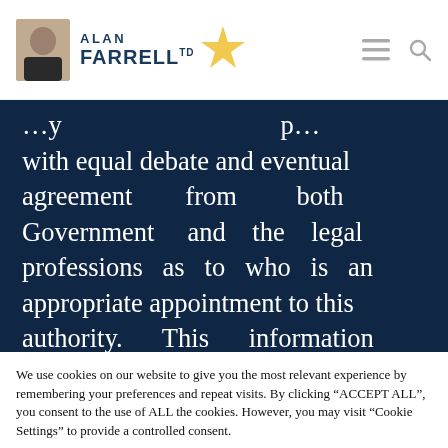[Figure (logo): Alan Farrell TD logo with photo and star icon, plus hamburger menu and search icon]
with equal debate and eventual agreement from both Government and the legal professions as to who is an appropriate appointment to this authority. This information would have to be made public
We use cookies on our website to give you the most relevant experience by remembering your preferences and repeat visits. By clicking "ACCEPT ALL", you consent to the use of ALL the cookies. However, you may visit "Cookie Settings" to provide a controlled consent.